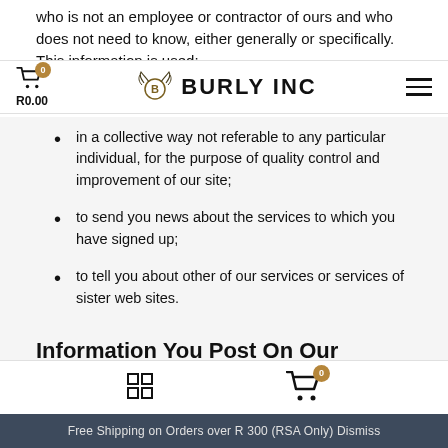who is not an employee or contractor of ours and who does not need to know, either generally or specifically. This information is used:
[Figure (screenshot): Burly Inc website navigation bar with cart icon showing R0.00 and 0 items, Burly Inc logo with wings emblem, and hamburger menu icon]
in a collective way not referable to any particular individual, for the purpose of quality control and improvement of our site;
to send you news about the services to which you have signed up;
to tell you about other of our services or services of sister web sites.
Information You Post On Our Website
Information you send to us by posting to a forum or blog or in our advertisement, is stored on our servers. We do not specifically use that information except to allow it to be available to our visitors, or to conditions that
Free Shipping on Orders over R 300 (RSA Only) Dismiss